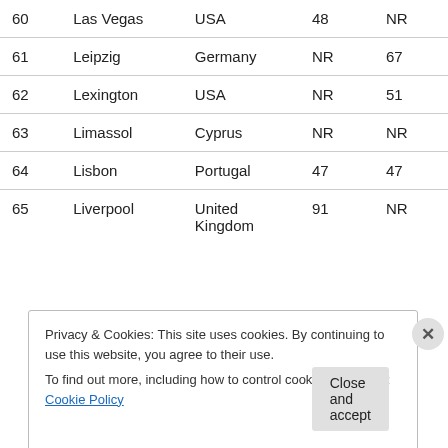| # | City | Country | Col1 | Col2 |
| --- | --- | --- | --- | --- |
| 60 | Las Vegas | USA | 48 | NR |
| 61 | Leipzig | Germany | NR | 67 |
| 62 | Lexington | USA | NR | 51 |
| 63 | Limassol | Cyprus | NR | NR |
| 64 | Lisbon | Portugal | 47 | 47 |
| 65 | Liverpool | United Kingdom | 91 | NR |
Privacy & Cookies: This site uses cookies. By continuing to use this website, you agree to their use. To find out more, including how to control cookies, see here: Cookie Policy